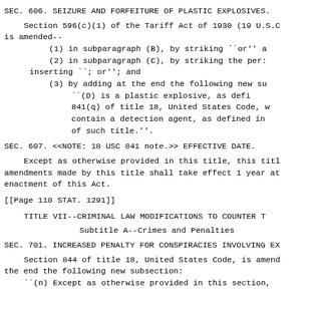SEC. 606. SEIZURE AND FORFEITURE OF PLASTIC EXPLOSIVES.
Section 596(c)(1) of the Tariff Act of 1930 (19 U.S.C. is amended--
(1) in subparagraph (B), by striking ``or'' a
(2) in subparagraph (C), by striking the per: inserting ``; or''; and
(3) by adding at the end the following new su ``(D) is a plastic explosive, as def: 841(q) of title 18, United States Code, w contain a detection agent, as defined in of such title.''.
SEC. 607. <<NOTE: 18 USC 841 note.>>  EFFECTIVE DATE.
Except as otherwise provided in this title, this tit: amendments made by this title shall take effect 1 year at enactment of this Act.
[[Page 110 STAT. 1291]]
TITLE VII--CRIMINAL LAW MODIFICATIONS TO COUNTER T
Subtitle A--Crimes and Penalties
SEC. 701. INCREASED PENALTY FOR CONSPIRACIES INVOLVING EX
Section 844 of title 18, United States Code, is amend the end the following new subsection:
``(n) Except as otherwise provided in this section,